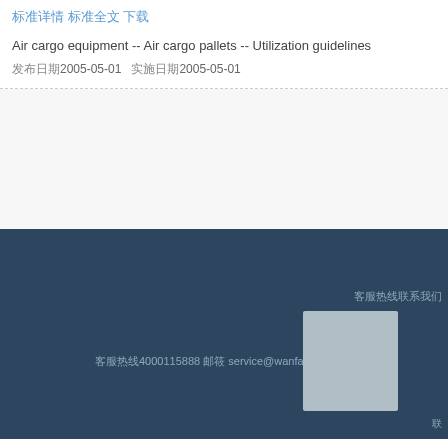标准详情 标准全文 下载
Air cargo equipment -- Air cargo pallets -- Utilization guidelines
发布日期2005-05-01  实施日期2005-05-01
客服热线4000115888 邮箱 service@wanfango...